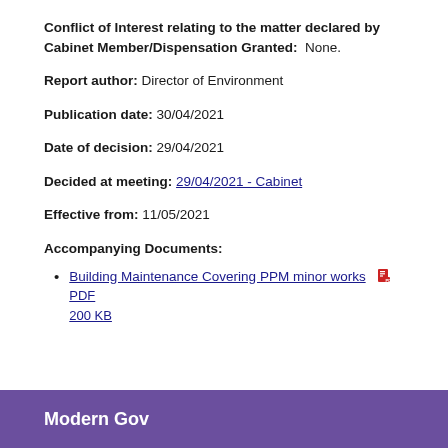Conflict of Interest relating to the matter declared by Cabinet Member/Dispensation Granted: None.
Report author: Director of Environment
Publication date: 30/04/2021
Date of decision: 29/04/2021
Decided at meeting: 29/04/2021 - Cabinet
Effective from: 11/05/2021
Accompanying Documents:
Building Maintenance Covering PPM minor works  PDF 200 KB
Modern Gov